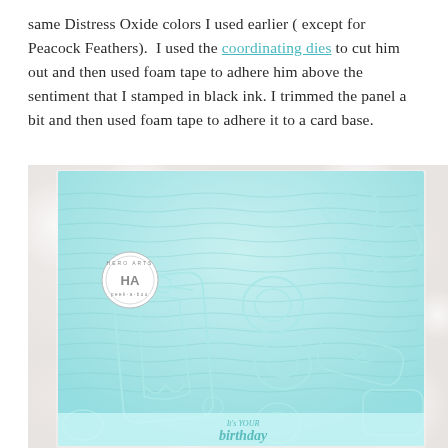same Distress Oxide colors I used earlier ( except for Peacock Feathers).  I used the coordinating dies to cut him out and then used foam tape to adhere him above the sentiment that I stamped in black ink. I trimmed the panel a bit and then used foam tape to adhere it to a card base.
[Figure (photo): A light blue handmade card featuring a pool party / summer scene stamp design with swimmers on floats, a beach ball, inner tubes, and the text 'It's your birthday' at the bottom, with a Hero Arts peek-a-boo circle seal in the upper left area. The card sits on a soft bokeh white/blush background.]